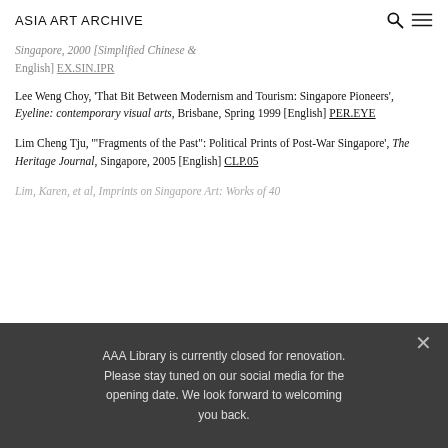ASIA ART ARCHIVE
Singapore, 2000 [Simplified Chinese & English] EX.SIN.IPR
Lee Weng Choy, 'That Bit Between Modernism and Tourism: Singapore Pioneers', Eyeline: contemporary visual arts, Brisbane, Spring 1999 [English] PER.EYE
Lim Cheng Tju, '"Fragments of the Past": Political Prints of Post-War Singapore', The Heritage Journal, Singapore, 2005 [English] CLP.05
Lim, Karen, et al, Imprints on Singapore Art: Works of 40...
AAA Library is currently closed for renovation. Please stay tuned on our social media for the opening date. We look forward to welcoming you back.